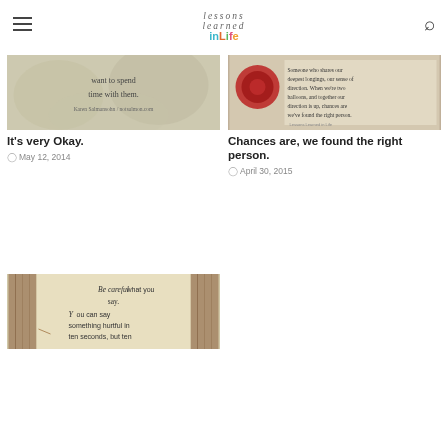Lessons Learned in Life
[Figure (photo): Quote image: 'want to spend time with them.' Karen Salmansohn / notsalmon.com on floral background]
It's very Okay.
May 12, 2014
[Figure (photo): Quote image: 'Someone who shares our deepest longings, our sense of direction. When we're two balloons, and together our direction is up, chances are we've found the right person. Our soulmate is the one who makes life come to life. — Richard Bach' with red circular object on left]
Chances are, we found the right person.
April 30, 2015
[Figure (photo): Quote image: 'Be careful what you say. You can say something hurtful in ten seconds, but ten' on aged paper background with wood panels on sides]